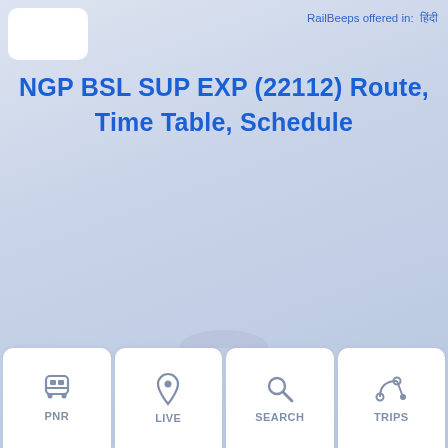RailBeeps offered in: हिंदी
NGP BSL SUP EXP (22112) Route, Time Table, Schedule
[Figure (screenshot): Bottom navigation bar with four items: PNR (train icon), LIVE (location pin icon), SEARCH (magnifying glass icon), TRIPS (route/map icon)]